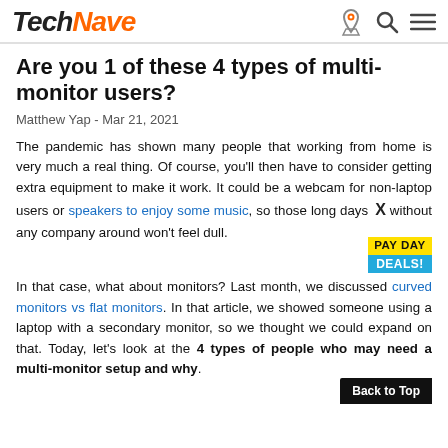TechNave
Are you 1 of these 4 types of multi-monitor users?
Matthew Yap - Mar 21, 2021
The pandemic has shown many people that working from home is very much a real thing. Of course, you'll then have to consider getting extra equipment to make it work. It could be a webcam for non-laptop users or speakers to enjoy some music, so those long days without any company around won't feel dull.
In that case, what about monitors? Last month, we discussed curved monitors vs flat monitors. In that article, we showed someone using a laptop with a secondary monitor, so we thought we could expand on that. Today, let's look at the 4 types of people who may need a multi-monitor setup and why.